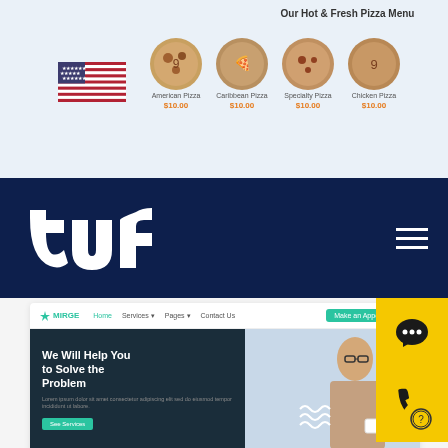[Figure (screenshot): Pizza menu website screenshot with US flag, four pizza items, and a yellow Live Chat button]
[Figure (logo): TUF logo in white on dark navy background with hamburger menu icon]
[Figure (screenshot): Website screenshot showing a consulting/business site with hero section 'We Will Help You to Solve the Problem', teal CTA button, and bottom section with 'Our experience is more than 20 years' text]
[Figure (infographic): Yellow floating chat bubble button on right side]
[Figure (infographic): Yellow floating phone button on right side]
[Figure (infographic): Yellow circle help button bottom right]